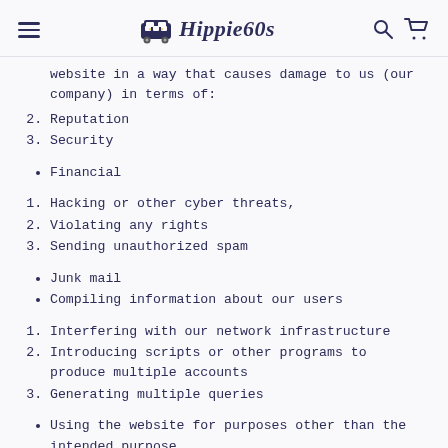Hippie60s
website in a way that causes damage to us (our company) in terms of:
2. Reputation
3. Security
• Financial
1. Hacking or other cyber threats,
2. Violating any rights
3. Sending unauthorized spam
• Junk mail
• Compiling information about our users
1. Interfering with our network infrastructure
2. Introducing scripts or other programs to produce multiple accounts
3. Generating multiple queries
• Using the website for purposes other than the intended purpose